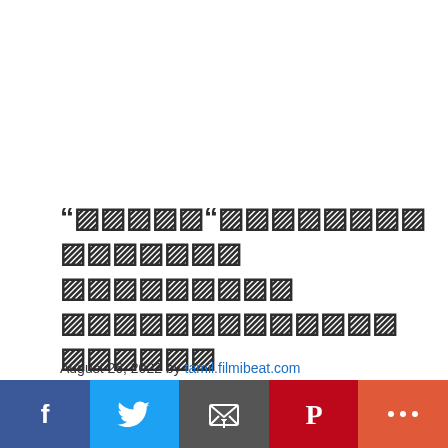“▨▨▨▨▨“▨▨▨▨▨▨▨▨ ▨▨▨▨▨▨▨ ▨▨▨▨▨▨▨▨▨ ▨▨▨▨▨▨▨▨▨▨▨▨▨ ▨▨▨▨▨▨ ▨▨▨▨▨▨▨▨?
August 26, 2022 by tamil.filmibeat.com
For Quick Alerts Subscribe Now ▨▨▨▨▨▨ ▨▨▨▨▨▨▨▨